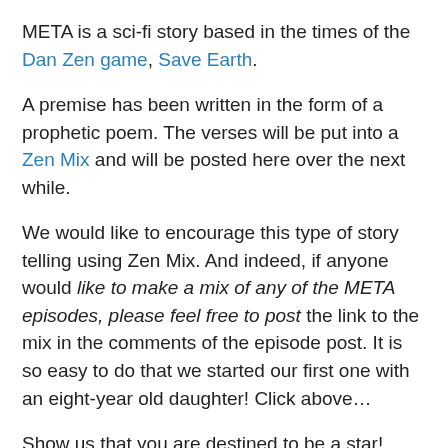META is a sci-fi story based in the times of the Dan Zen game, Save Earth.
A premise has been written in the form of a prophetic poem. The verses will be put into a Zen Mix and will be posted here over the next while.
We would like to encourage this type of story telling using Zen Mix. And indeed, if anyone would like to make a mix of any of the META episodes, please feel free to post the link to the mix in the comments of the episode post. It is so easy to do that we started our first one with an eight-year old daughter! Click above…
Show us that you are destined to be a star!
1. Record yourself with a digital camera saying the poem